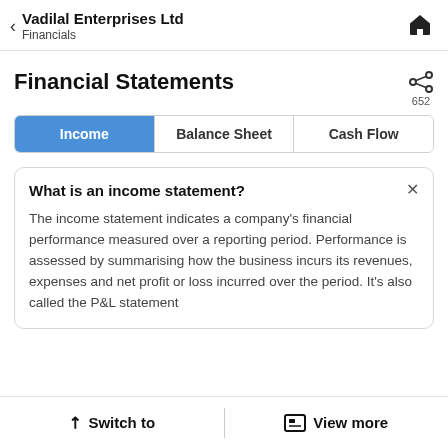Vadilal Enterprises Ltd — Financials
Financial Statements
652
Income | Balance Sheet | Cash Flow
What is an income statement?
The income statement indicates a company's financial performance measured over a reporting period. Performance is assessed by summarising how the business incurs its revenues, expenses and net profit or loss incurred over the period. It's also called the P&L statement
Switch to | View more